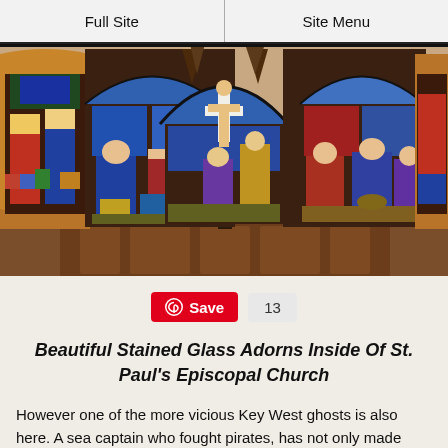Full Site | Site Menu
[Figure (photo): Interior photograph of stained glass windows at St. Paul's Episcopal Church, showing a large Gothic arched triptych with colorful religious scenes including a crucifixion scene in the center panel, flanked by figures in blue and red robes, all set against ornate wooden altar furniture.]
Save  13
Beautiful Stained Glass Adorns Inside Of St. Paul's Episcopal Church
However one of the more vicious Key West ghosts is also here. A sea captain who fought pirates, has not only made himself visible to people,